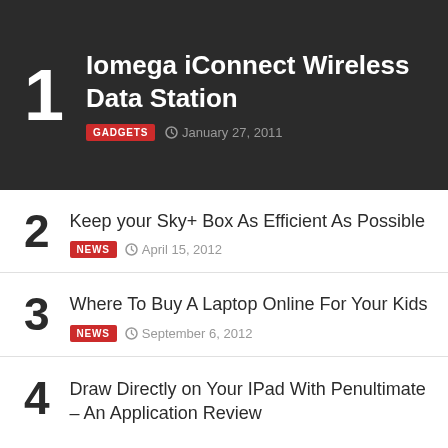Iomega iConnect Wireless Data Station
GADGETS  January 27, 2011
2  Keep your Sky+ Box As Efficient As Possible  NEWS  April 15, 2012
3  Where To Buy A Laptop Online For Your Kids  NEWS  September 6, 2012
4  Draw Directly on Your IPad With Penultimate – An Application Review